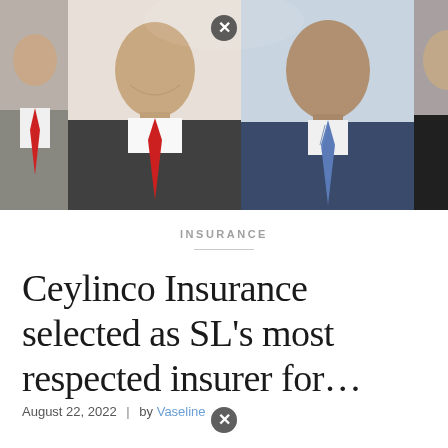[Figure (photo): Group photo of four men in business attire (suits and ties) arranged side by side, cropped at chest/shoulder level]
INSURANCE
Ceylinco Insurance selected as SL's most respected insurer for…
August 22, 2022 | by Vaseline